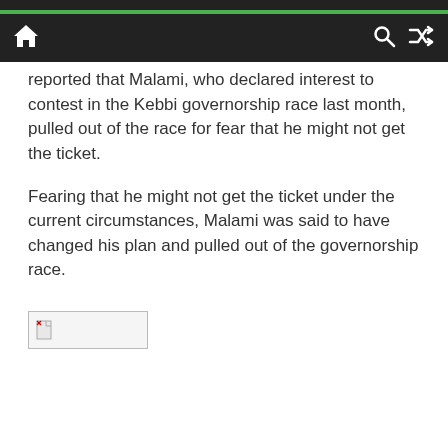Navigation bar with home, search, and shuffle icons
reported that Malami, who declared interest to contest in the Kebbi governorship race last month, pulled out of the race for fear that he might not get the ticket.
Fearing that he might not get the ticket under the current circumstances, Malami was said to have changed his plan and pulled out of the governorship race.
[Figure (other): Broken image placeholder (small document icon with torn corner)]